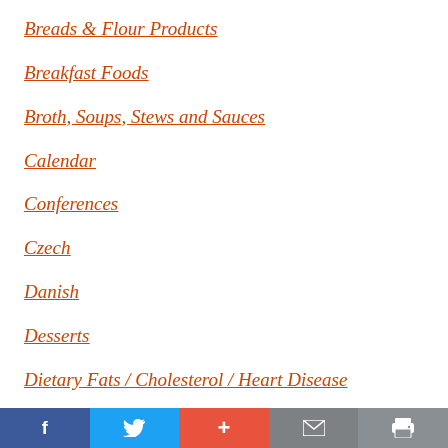Breads & Flour Products
Breakfast Foods
Broth, Soups, Stews and Sauces
Calendar
Conferences
Czech
Danish
Desserts
Dietary Fats / Cholesterol / Heart Disease
f  [twitter]  +  [mail]  [print]